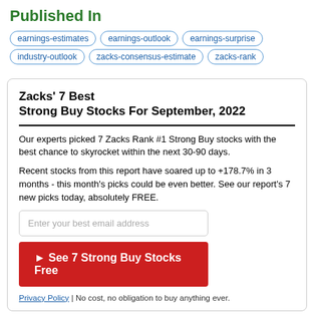Published In
earnings-estimates
earnings-outlook
earnings-surprise
industry-outlook
zacks-consensus-estimate
zacks-rank
Zacks' 7 Best Strong Buy Stocks For September, 2022
Our experts picked 7 Zacks Rank #1 Strong Buy stocks with the best chance to skyrocket within the next 30-90 days.
Recent stocks from this report have soared up to +178.7% in 3 months - this month's picks could be even better. See our report's 7 new picks today, absolutely FREE.
Enter your best email address
► See 7 Strong Buy Stocks Free
Privacy Policy | No cost, no obligation to buy anything ever.
Up Next